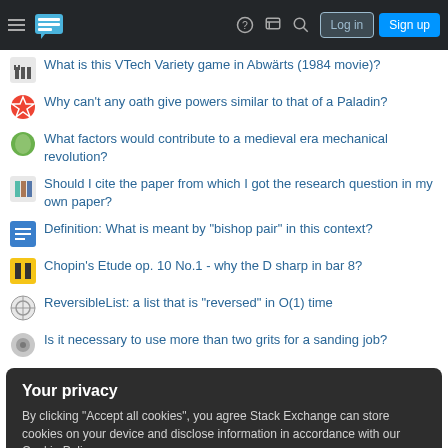Stack Exchange navigation bar with Log in and Sign up buttons
What is this VTech Variety game in Abwärts (1984 movie)?
Why can't any oath give powers similar to that of a Paladin?
What factors would contribute to a medieval era mechanical revolution?
Should I cite the paper from which I got the research question in my own paper?
Definition: What is meant by "bishop pair" in this context?
Chopin's Etude op. 10 No.1 - why the D sharp in bar 8?
ReversibleList: a list that is "reversed" in O(1) time
Is it necessary to use more than two grits for a sanding job?
Your privacy
By clicking "Accept all cookies", you agree Stack Exchange can store cookies on your device and disclose information in accordance with our Cookie Policy.
Accept all cookies  Customize settings
Would a lifetime gym membership be subject to bankruptcy